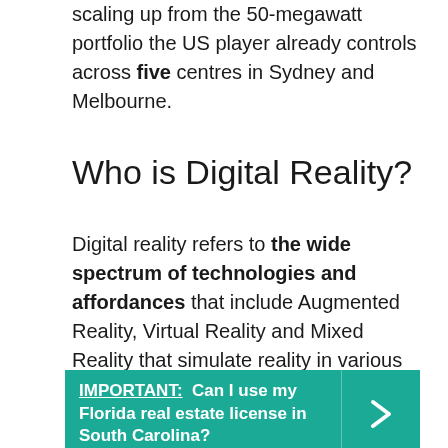scaling up from the 50-megawatt portfolio the US player already controls across five centres in Sydney and Melbourne.
Who is Digital Reality?
Digital reality refers to the wide spectrum of technologies and affordances that include Augmented Reality, Virtual Reality and Mixed Reality that simulate reality in various ways. Imagine you are a service technician.
IMPORTANT: Can I use my Florida real estate license in South Carolina?
What does Digital Reality